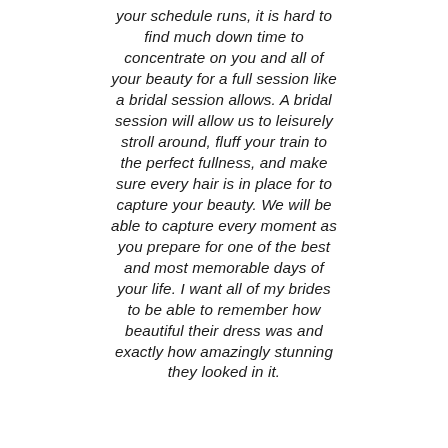your schedule runs, it is hard to find much down time to concentrate on you and all of your beauty for a full session like a bridal session allows. A bridal session will allow us to leisurely stroll around, fluff your train to the perfect fullness, and make sure every hair is in place for to capture your beauty. We will be able to capture every moment as you prepare for one of the best and most memorable days of your life. I want all of my brides to be able to remember how beautiful their dress was and exactly how amazingly stunning they looked in it.